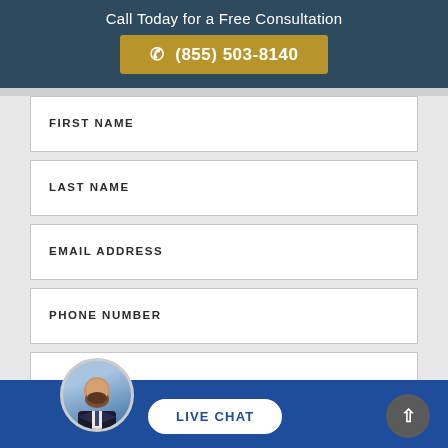Call Today for a Free Consultation
(855) 503-8140
FIRST NAME
LAST NAME
EMAIL ADDRESS
PHONE NUMBER
LIVE CHAT